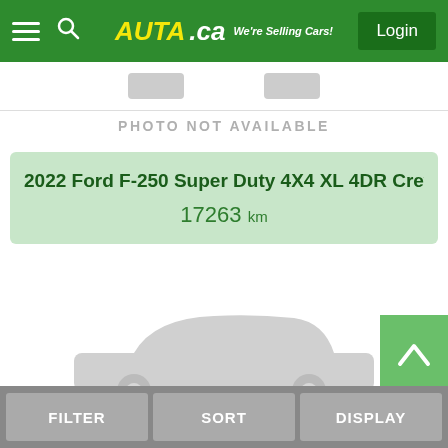Auta.ca — We're Selling Cars! | Login
PHOTO NOT AVAILABLE
2022 Ford F-250 Super Duty 4X4 XL 4DR Crew Cab 6.8 FT
17263 km
[Figure (illustration): Car silhouette placeholder image in light grey]
FILTER | SORT | DISPLAY